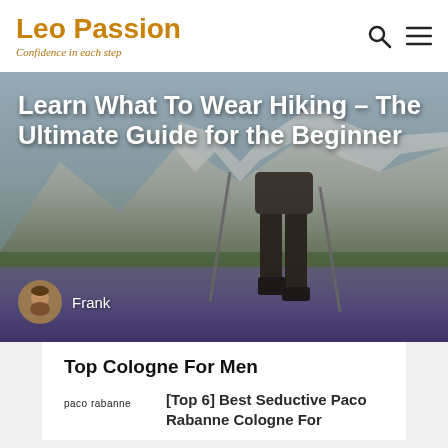Leo Passion — Confidence in each step
[Figure (photo): Hero image of a hiker with trekking poles walking through a mountain meadow with purple wildflowers. Snow-capped mountains visible in the background.]
Learn What To Wear Hiking – The Ultimate Guide for the Beginner
Frank
Top Cologne For Men
[Figure (logo): Paco Rabanne brand logo text]
[Top 6] Best Seductive Paco Rabanne Cologne For